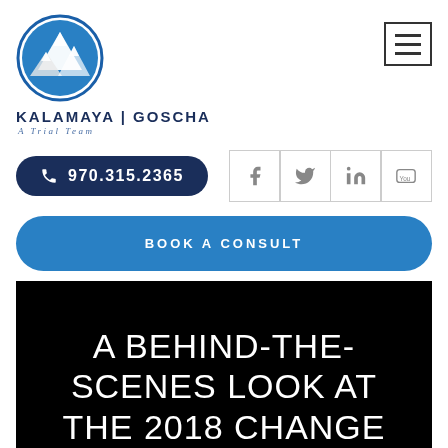[Figure (logo): Kalamaya | Goscha law firm logo: circular emblem with mountain peaks and blue circle, firm name KALAMAYA | GOSCHA and tagline A Trial Team]
KALAMAYA | GOSCHA
A Trial Team
[Figure (other): Hamburger menu icon (three horizontal lines) in a bordered square]
970.315.2365
[Figure (other): Social media icons: Facebook (f), Twitter (bird), LinkedIn (in), YouTube (You)]
BOOK A CONSULT
A BEHIND-THE-SCENES LOOK AT THE 2018 CHANGE